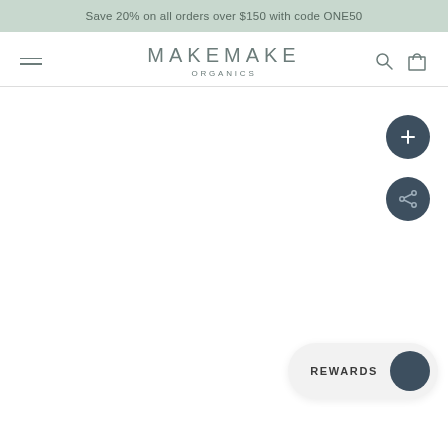Save 20% on all orders over $150 with code ONE50
[Figure (logo): Makemake Organics logo with hamburger menu, search icon, and cart icon in navigation bar]
[Figure (other): White content area with two dark circular floating action buttons (plus and share) on the right side, and a rewards button at the bottom right]